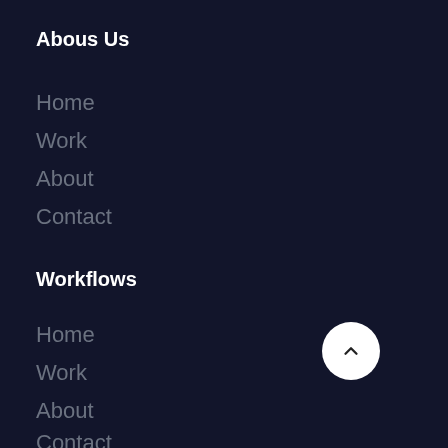Abous Us
Home
Work
About
Contact
Workflows
Home
Work
About
Contact
[Figure (other): White circular scroll-to-top button with upward chevron arrow]